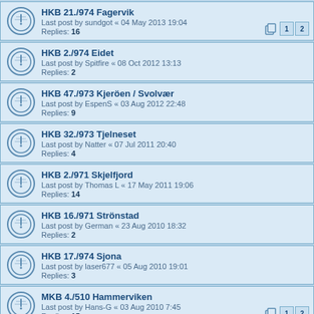HKB 21./974 Fagervik
Last post by sundgot « 04 May 2013 19:04
Replies: 16
HKB 2./974 Eidet
Last post by Spitfire « 08 Oct 2012 13:13
Replies: 2
HKB 47./973 Kjeröen / Svolvær
Last post by EspenS « 03 Aug 2012 22:48
Replies: 9
HKB 32./973 Tjelneset
Last post by Natter « 07 Jul 2011 20:40
Replies: 4
HKB 2./971 Skjelfjord
Last post by Thomas L « 17 May 2011 19:06
Replies: 14
HKB 16./971 Strönstad
Last post by German « 23 Aug 2010 18:32
Replies: 2
HKB 17./974 Sjona
Last post by laser677 « 05 Aug 2010 19:01
Replies: 3
MKB 4./510 Hammerviken
Last post by Hans-G « 03 Aug 2010 7:45
Replies: 15
HKB 35./973 Saltviknes
Last post by Natter « 23 Jul 2010 21:19